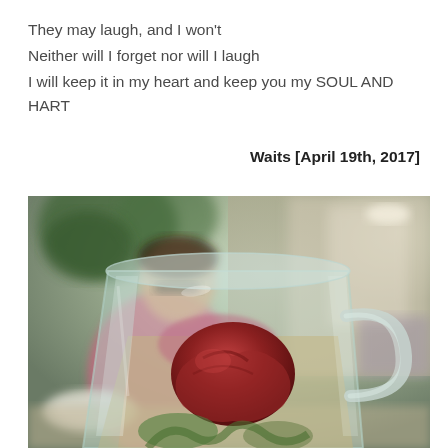They may laugh, and I won't
Neither will I forget nor will I laugh
I will keep it in my heart and keep you my SOUL AND HART
Waits [April 19th, 2017]
[Figure (photo): A close-up photo of a glass mug filled with herbal tea containing a red date/jujube fruit and other botanicals. In the blurred background, a person wearing glasses and a pink sweater sits at a restaurant table with a white plate and greenery visible.]